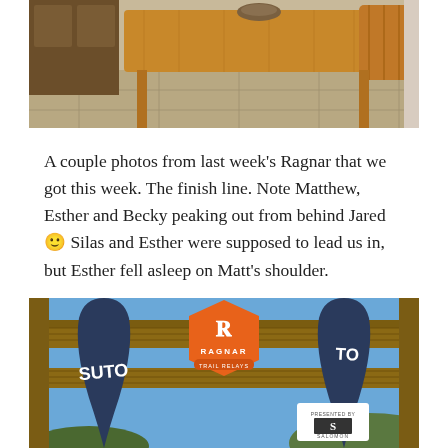[Figure (photo): Top portion of a photo showing a wooden dining table and chairs in a kitchen/dining area with tile floor]
A couple photos from last week's Ragnar that we got this week. The finish line. Note Matthew, Esther and Becky peaking out from behind Jared 🙂 Silas and Esther were supposed to lead us in, but Esther fell asleep on Matt's shoulder.
[Figure (photo): Photo of a Ragnar Trail Relays finish line gate made of wooden beams with the orange Ragnar Trail Relays logo sign and SUTO banners on each side, with blue sky and hills in background. A Salomon logo is visible on the right.]